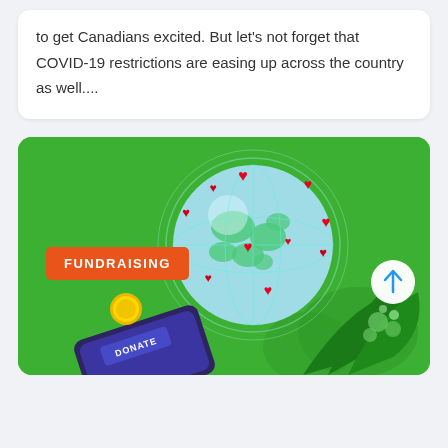to get Canadians excited. But let's not forget that COVID-19 restrictions are easing up across the country as well....
[Figure (illustration): Fundraising illustration on green background: a globe with red hearts floating around it connected by network lines, a smartphone with a donate button and a heart icon, a gold coin, tropical leaves, and a white circular scroll-up button with a blue arrow. An orange badge reads 'FUNDRAISING'.]